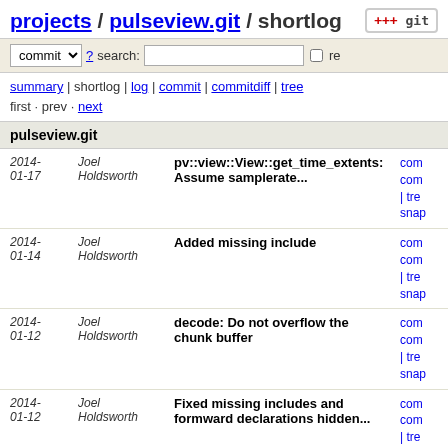projects / pulseview.git / shortlog
commit search: re
summary | shortlog | log | commit | commitdiff | tree
first · prev · next
pulseview.git
| Date | Author | Message | Links |
| --- | --- | --- | --- |
| 2014-01-17 | Joel Holdsworth | pv::view::View::get_time_extents: Assume samplerate... | comm comm | tree snap |
| 2014-01-14 | Joel Holdsworth | Added missing include | comm comm | tree snap |
| 2014-01-12 | Joel Holdsworth | decode: Do not overflow the chunk buffer | comm comm | tree snap |
| 2014-01-12 | Joel Holdsworth | Fixed missing includes and formward declarations hidden... | comm comm | tree snap |
| 2014-01-12 | Joel Holdsworth | Removed QToolBar from DecoderGroupBox | comm comm | tree snap |
| 2014-01-12 | Joel Holdsworth | Replaced QToolBar in probes popup | comm comm | tree snap |
| 2014-01-12 | Joel Holdsworth | Implemented support for probe groups | comm comm | tree snap |